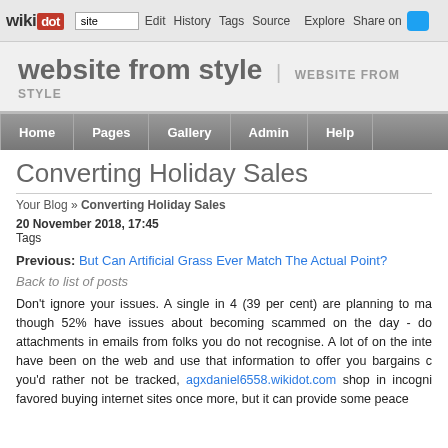wikidot | site Edit History Tags Source Explore Share on [Twitter]
website from style | WEBSITE FROM STYLE
Home | Pages | Gallery | Admin | Help
Converting Holiday Sales
Your Blog » Converting Holiday Sales
20 November 2018, 17:45
Tags
Previous: But Can Artificial Grass Ever Match The Actual Point?
Back to list of posts
Don't ignore your issues. A single in 4 (39 per cent) are planning to ma though 52% have issues about becoming scammed on the day - do attachments in emails from folks you do not recognise. A lot of on the inte have been on the web and use that information to offer you bargains c you'd rather not be tracked, agxdaniel6558.wikidot.com shop in incogni favored buying internet sites once more, but it can provide some peace